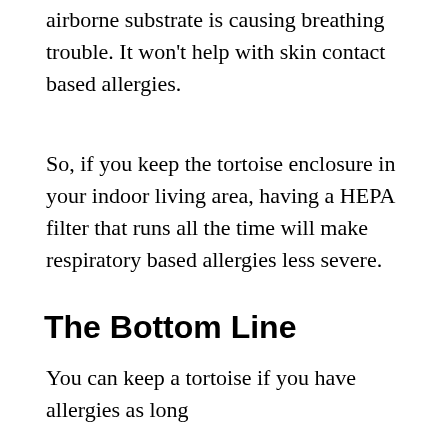airborne substrate is causing breathing trouble. It won't help with skin contact based allergies.
So, if you keep the tortoise enclosure in your indoor living area, having a HEPA filter that runs all the time will make respiratory based allergies less severe.
The Bottom Line
You can keep a tortoise if you have allergies as long